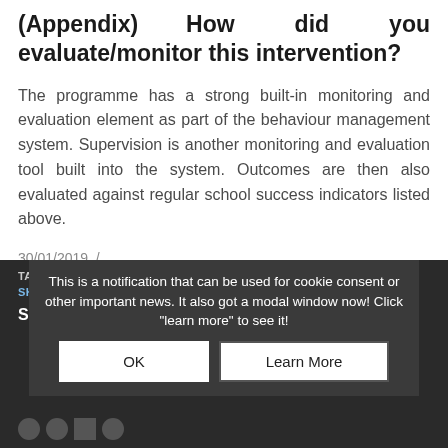(Appendix) How did you evaluate/monitor this intervention?
The programme has a strong built-in monitoring and evaluation element as part of the behaviour management system. Supervision is another monitoring and evaluation tool built into the system. Outcomes are then also evaluated against regular school success indicators listed above.
30/01/2019 /
TAGS: BEHAVIOURAL PROBLEMS, DIFFICULT SKOBDENV...
Share this entry
This is a notification that can be used for cookie consent or other important news. It also got a modal window now! Click "learn more" to see it!